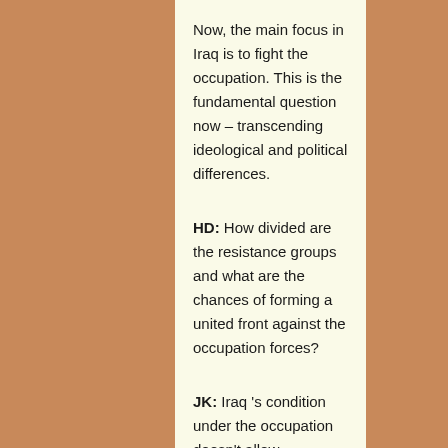Now, the main focus in Iraq is to fight the occupation. This is the fundamental question now – transcending ideological and political differences.
HD: How divided are the resistance groups and what are the chances of forming a united front against the occupation forces?
JK: Iraq 's condition under the occupation doesn't allow